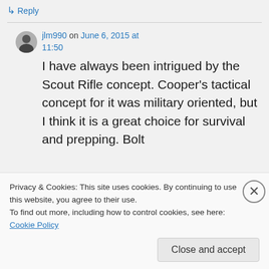↳ Reply
jlm990 on June 6, 2015 at 11:50
I have always been intrigued by the Scout Rifle concept. Cooper's tactical concept for it was military oriented, but I think it is a great choice for survival and prepping. Bolt
Privacy & Cookies: This site uses cookies. By continuing to use this website, you agree to their use.
To find out more, including how to control cookies, see here: Cookie Policy
Close and accept